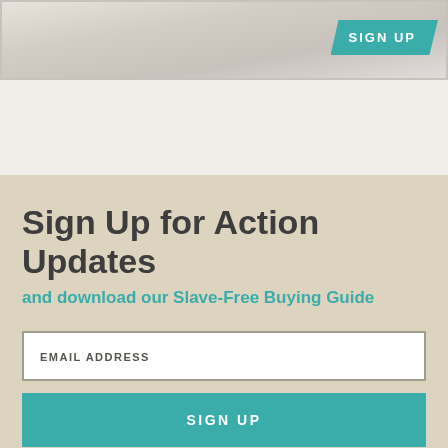[Figure (photo): Blurred background image of people, with a teal parallelogram-shaped SIGN UP badge in the top-right corner]
Sign Up for Action Updates
and download our Slave-Free Buying Guide
EMAIL ADDRESS
SIGN UP